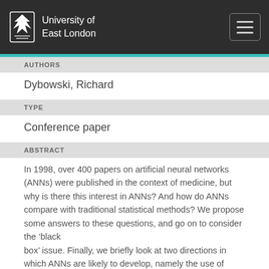University of East London
AUTHORS
Dybowski, Richard
TYPE
Conference paper
ABSTRACT
In 1998, over 400 papers on artificial neural networks (ANNs) were published in the context of medicine, but why is there this interest in ANNs? And how do ANNs compare with traditional statistical methods? We propose some answers to these questions, and go on to consider the ‘black box’ issue. Finally, we briefly look at two directions in which ANNs are likely to develop, namely the use of